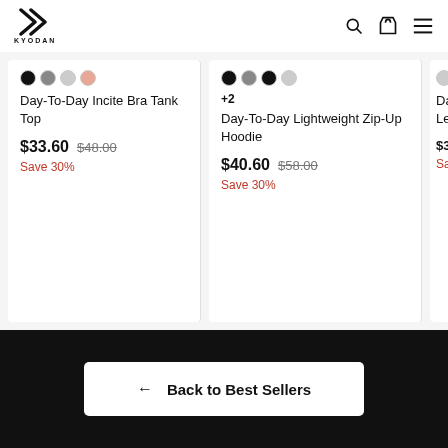[Figure (logo): Kyodan logo with stylized K icon and KYODAN text below]
Day-To-Day Incite Bra Tank Top
$33.60  $48.00  Save 30%
+2
Day-To-Day Lightweight Zip-Up Hoodie
$40.60  $58.00  Save 30%
Day-To- Leggin $33.6 Save 3
← Back to Best Sellers